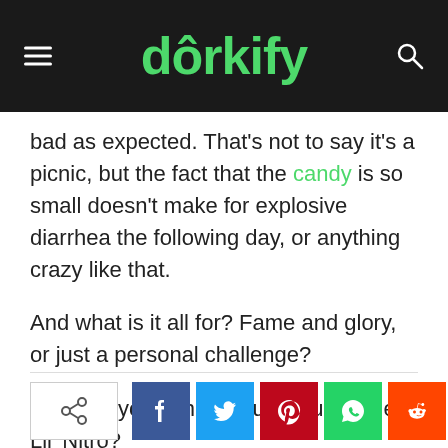dorkify
bad as expected. That's not to say it's a picnic, but the fact that the candy is so small doesn't make for explosive diarrhea the following day, or anything crazy like that.
And what is it all for? Fame and glory, or just a personal challenge?
What do you think? Could you handle Lil' Nitro?